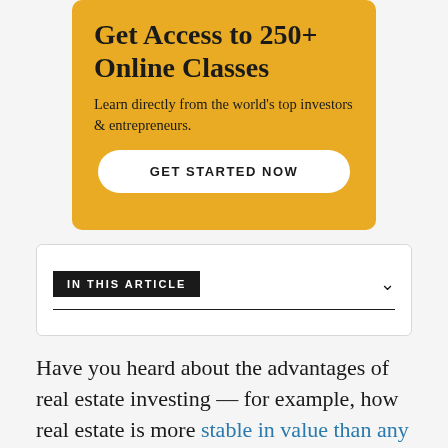Get Access to 250+ Online Classes
Learn directly from the world’s top investors & entrepreneurs.
GET STARTED NOW
IN THIS ARTICLE
Have you heard about the advantages of real estate investing — for example, how real estate is more stable in value than any